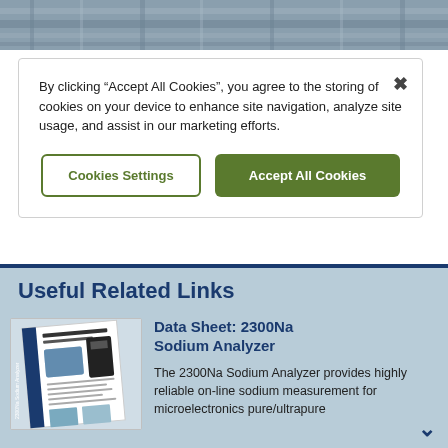[Figure (photo): Industrial piping or equipment photo strip at top of page]
By clicking “Accept All Cookies”, you agree to the storing of cookies on your device to enhance site navigation, analyze site usage, and assist in our marketing efforts.
Cookies Settings
Accept All Cookies
Useful Related Links
[Figure (photo): Thumbnail image of 2300Na Sodium Analyzer data sheet document]
Data Sheet: 2300Na Sodium Analyzer
The 2300Na Sodium Analyzer provides highly reliable on-line sodium measurement for microelectronics pure/ultrapure